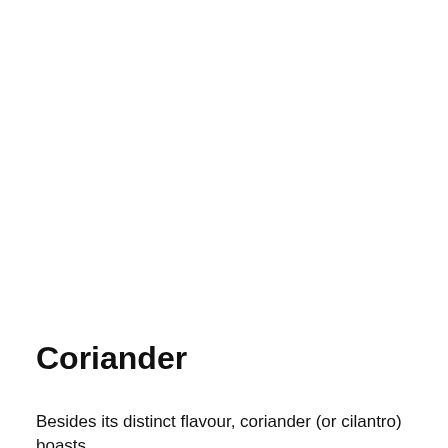Coriander
Besides its distinct flavour, coriander (or cilantro) boasts